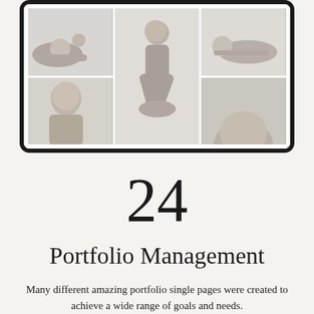[Figure (screenshot): Tablet device frame showing a photo gallery grid with black and white fashion/portrait photography images arranged in a 3-column grid layout]
24
Portfolio Management
Many different amazing portfolio single pages were created to achieve a wide range of goals and needs.